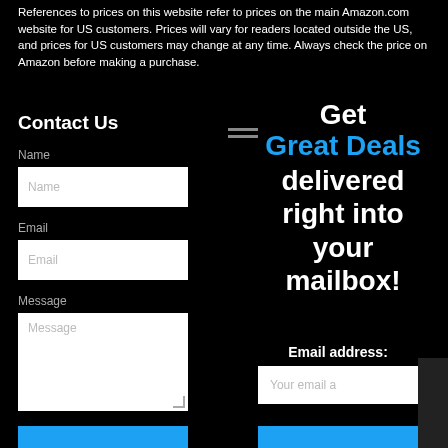References to prices on this website refer to prices on the main Amazon.com website for US customers. Prices will vary for readers located outside the US, and prices for US customers may change at any time. Always check the price on Amazon before making a purchase.
Contact Us
Name
Name (input placeholder)
Email
Email (input placeholder)
Message
Message (textarea placeholder)
Get Great Deals delivered right into your mailbox!
Email address:
Your email a (input placeholder)